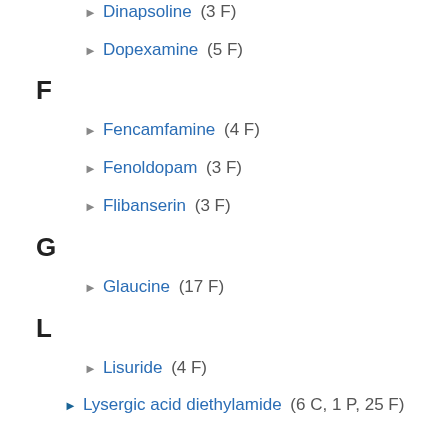D3 receptor agonists (2 C, 4 F)
Dinapsoline (3 F)
Dopexamine (5 F)
F
Fencamfamine (4 F)
Fenoldopam (3 F)
Flibanserin (3 F)
G
Glaucine (17 F)
L
Lisuride (4 F)
Lysergic acid diethylamide (6 C, 1 P, 25 F)